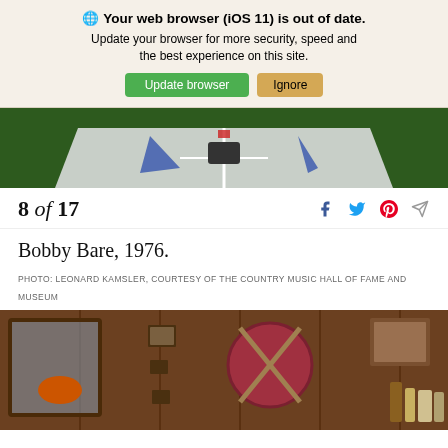🌐 Your web browser (iOS 11) is out of date. Update your browser for more security, speed and the best experience on this site.
Update browser | Ignore
[Figure (photo): Aerial view photo showing white and dark green surfaces with geometric shapes]
8 of 17
Bobby Bare, 1976.
PHOTO: LEONARD KAMSLER, COURTESY OF THE COUNTRY MUSIC HALL OF FAME AND MUSEUM
[Figure (photo): Interior room with wood-paneled walls, a circular red shield with crossed swords, framed pictures, and shelves with books and bottles]